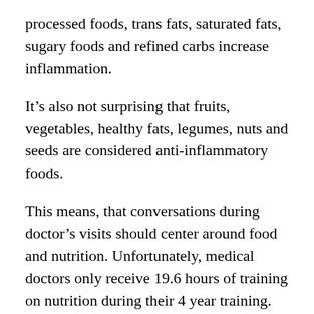processed foods, trans fats, saturated fats, sugary foods and refined carbs increase inflammation.
It’s also not surprising that fruits, vegetables, healthy fats, legumes, nuts and seeds are considered anti-inflammatory foods.
This means, that conversations during doctor’s visits should center around food and nutrition. Unfortunately, medical doctors only receive 19.6 hours of training on nutrition during their 4 year training.
And the fact that currently there is an opioid crisis in US, shows that healthcare